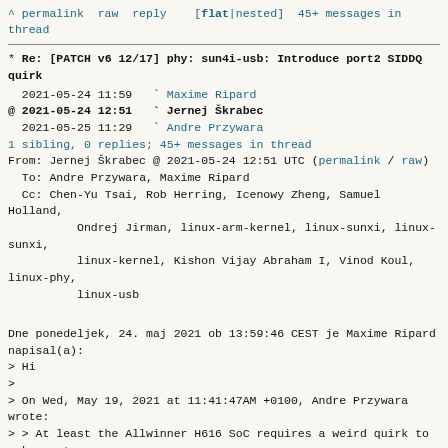^ permalink raw reply [flat|nested] 45+ messages in thread
* Re: [PATCH v6 12/17] phy: sun4i-usb: Introduce port2 SIDDQ quirk
2021-05-24 11:59   ` Maxime Ripard
@ 2021-05-24 12:51   ` Jernej Škrabec
  2021-05-25 11:29   ` Andre Przywara
  1 sibling, 0 replies; 45+ messages in thread
From: Jernej Škrabec @ 2021-05-24 12:51 UTC (permalink / raw)
  To: Andre Przywara, Maxime Ripard
  Cc: Chen-Yu Tsai, Rob Herring, Icenowy Zheng, Samuel Holland,
          Ondrej Jirman, linux-arm-kernel, linux-sunxi, linux-sunxi,
          linux-kernel, Kishon Vijay Abraham I, Vinod Koul, linux-phy,
          linux-usb
Dne ponedeljek, 24. maj 2021 ob 13:59:46 CEST je Maxime Ripard napisal(a):
> Hi
>
> On Wed, May 19, 2021 at 11:41:47AM +0100, Andre Przywara wrote:
> > At least the Allwinner H616 SoC requires a weird quirk to make most
> > USB PHYs work: Only port2 works out of the box, but